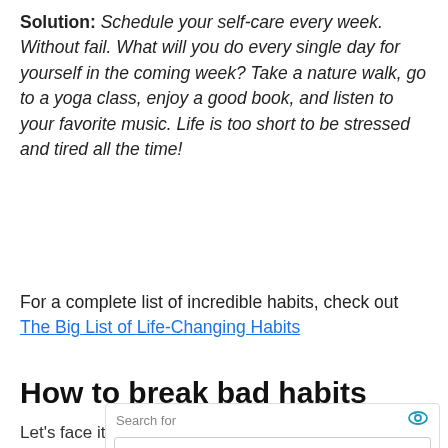Solution: Schedule your self-care every week. Without fail. What will you do every single day for yourself in the coming week? Take a nature walk, go to a yoga class, enjoy a good book, and listen to your favorite music. Life is too short to be stressed and tired all the time!
For a complete list of incredible habits, check out The Big List of Life-Changing Habits
How to break bad habits
Let's face it, it's super hard to change anything in
[Figure (other): Ad overlay with search bar showing 'Search for' label with eye icon, two ad buttons: 'HOW TO STOP A BAD HABIT' and 'BREAKING BAD HABITS', each with arrow, and a play icon at bottom right.]